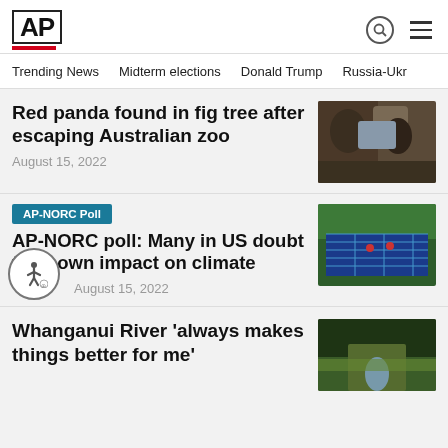AP
Trending News
Midterm elections
Donald Trump
Russia-Ukr
Red panda found in fig tree after escaping Australian zoo
August 15, 2022
AP-NORC Poll
AP-NORC poll: Many in US doubt their own impact on climate
August 15, 2022
Whanganui River 'always makes things better for me'